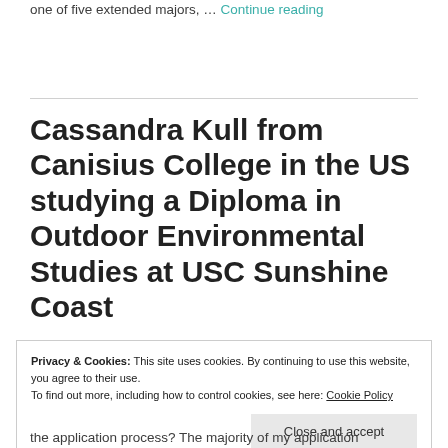one of five extended majors, … Continue reading
Cassandra Kull from Canisius College in the US studying a Diploma in Outdoor Environmental Studies at USC Sunshine Coast
Privacy & Cookies: This site uses cookies. By continuing to use this website, you agree to their use.
To find out more, including how to control cookies, see here: Cookie Policy
Close and accept
the application process? The majority of my application